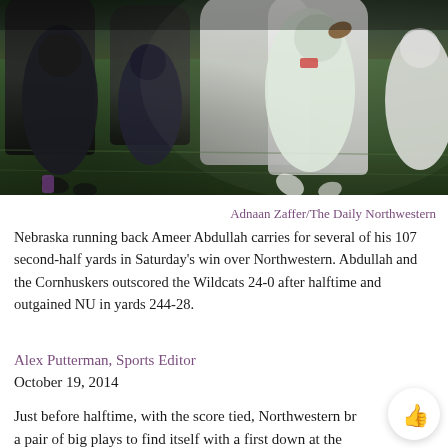[Figure (photo): Nebraska running back Ameer Abdullah carrying the football on a green field, surrounded by players in dark Northwestern uniforms and white Nebraska uniforms. Night game action photo.]
Adnaan Zaffer/The Daily Northwestern
Nebraska running back Ameer Abdullah carries for several of his 107 second-half yards in Saturday's win over Northwestern. Abdullah and the Cornhuskers outscored the Wildcats 24-0 after halftime and outgained NU in yards 244-28.
Alex Putterman, Sports Editor
October 19, 2014
Just before halftime, with the score tied, Northwestern broke a pair of big plays to find itself with a first down at the Nebraska 13-yard line.